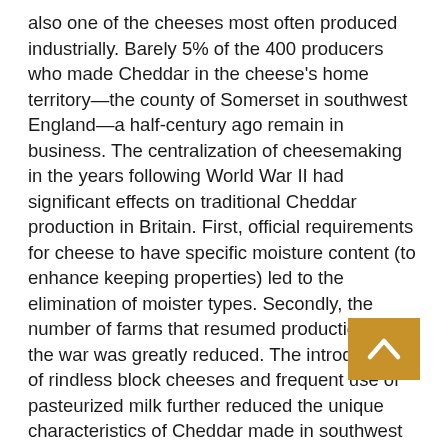also one of the cheeses most often produced industrially. Barely 5% of the 400 producers who made Cheddar in the cheese's home territory—the county of Somerset in southwest England—a half-century ago remain in business. The centralization of cheesemaking in the years following World War II had significant effects on traditional Cheddar production in Britain. First, official requirements for cheese to have specific moisture content (to enhance keeping properties) led to the elimination of moister types. Secondly, the number of farms that resumed production after the war was greatly reduced. The introduction of rindless block cheeses and frequent use of pasteurized milk further reduced the unique characteristics of Cheddar made in southwest England. But an artisan, handmade version still exists, made in the rich dairy pastures near the town of Cheddar in Somerset, where a few farmers continue to produce the region's traditional cheese.
The cheese curd is created using old strains of bacteria (known as 'pint starters'; these are based on traditional local microflora) and calf rennet, both of which help to provide